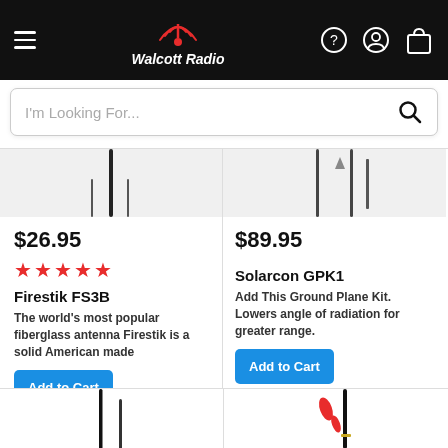Walcott Radio
I'm Looking For...
$26.95
[Figure (other): Five red stars rating]
Firestik FS3B
The world's most popular fiberglass antenna Firestik is a solid American made
Add to Cart
$89.95
Solarcon GPK1
Add This Ground Plane Kit. Lowers angle of radiation for greater range.
Add to Cart
[Figure (photo): Antenna product image bottom left]
[Figure (photo): Antenna product image bottom right with red accent]